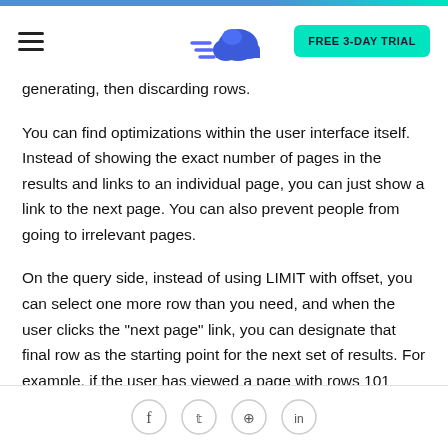FREE 3-DAY TRIAL
generating, then discarding rows.
You can find optimizations within the user interface itself. Instead of showing the exact number of pages in the results and links to an individual page, you can just show a link to the next page. You can also prevent people from going to irrelevant pages.
On the query side, instead of using LIMIT with offset, you can select one more row than you need, and when the user clicks the "next page" link, you can designate that final row as the starting point for the next set of results. For example, if the user has viewed a page with rows 101 through 120, you will have to select row 121 as well; to render the next page,
Social icons: Facebook, Twitter, Pinterest, LinkedIn